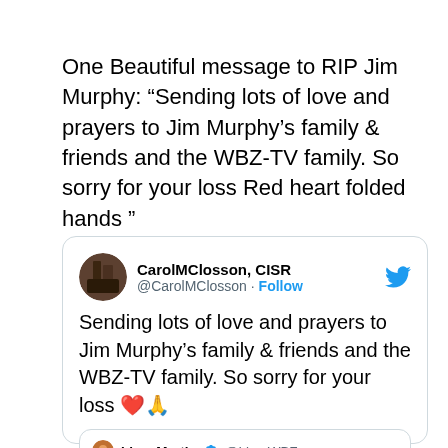One Beautiful message to RIP Jim Murphy: “Sending lots of love and prayers to Jim Murphy’s family & friends and the WBZ-TV family. So sorry for your loss Red heart folded hands ”
[Figure (screenshot): Embedded tweet from @CarolMClosson (CarolMClosson, CISR) with a Follow button and Twitter bird icon. Tweet text: 'Sending lots of love and prayers to Jim Murphy’s family & friends and the WBZ-TV family. So sorry for your loss ❤️🙏'. Contains a quoted tweet from Liam Martin @LiamWBZ (verified): 'The WBZ family is heartbroken. Jim Murphy was...']